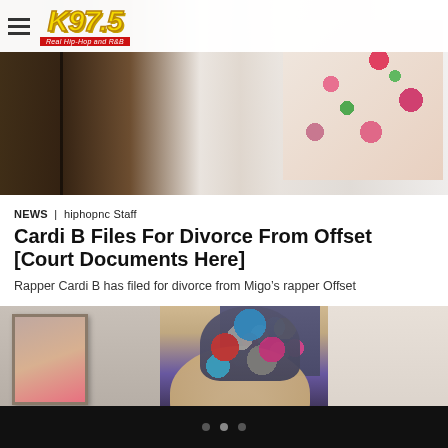K97.5 — Real Hip-Hop and R&B
[Figure (photo): Photo of two people standing together, woman on right wearing a floral dress]
NEWS | hiphopnc Staff
Cardi B Files For Divorce From Offset [Court Documents Here]
Rapper Cardi B has filed for divorce from Migo's rapper Offset
[Figure (photo): Photo of Cardi B with colorful hair rollers in a multi-colored updo, looking directly at camera, with a painting visible in background]